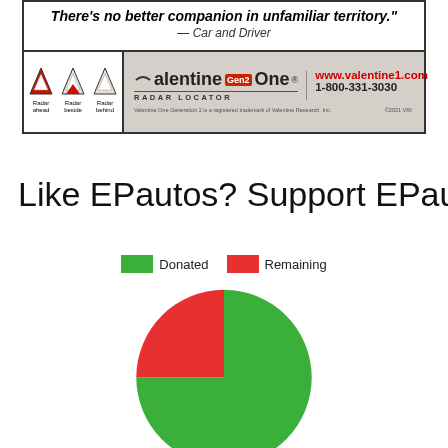[Figure (illustration): Valentine Gen2 One Radar Locator advertisement. Top: quote in bold italic 'There's no better companion in unfamiliar territory.' attributed to Car and Driver. Bottom left: three radar direction icons (ahead, beside, behind). Bottom right: Valentine Gen2 One logo, RADAR LOCATOR tagline, www.valentine1.com, 1-800-331-3030, trademark notice.]
Like EPautos? Support EPautos!
[Figure (pie-chart): EPautos Donation Status]